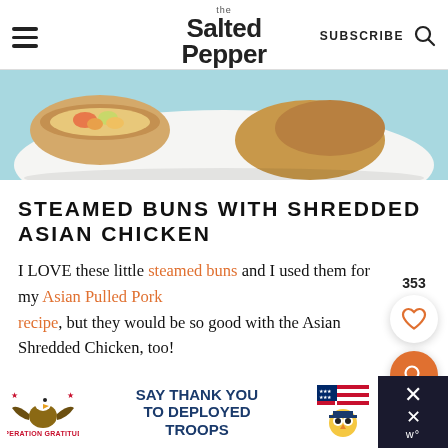the Salted Pepper | SUBSCRIBE
[Figure (photo): Food photo showing steamed buns with Asian chicken filling on a light blue/teal plate, partially cropped at top]
STEAMED BUNS WITH SHREDDED ASIAN CHICKEN
I LOVE these little steamed buns and I used them for my Asian Pulled Pork recipe, but they would be so good with the Asian Shredded Chicken, too!
[Figure (infographic): Floating UI elements: 353 count with heart icon button (white circle) and orange search button circle on the right side]
[Figure (infographic): Advertisement banner: Operation Gratitude - SAY THANK YOU TO DEPLOYED TROOPS, with eagle logo and cartoon mascot]